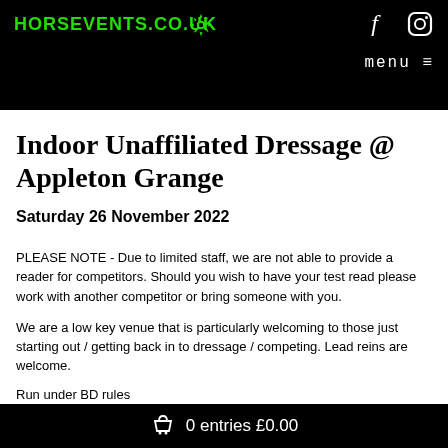HORSEVENTS.CO.UK  menu
Indoor Unaffiliated Dressage @ Appleton Grange
Saturday 26 November 2022
PLEASE NOTE - Due to limited staff, we are not able to provide a reader for competitors. Should you wish to have your test read please work with another competitor or bring someone with you.
We are a low key venue that is particularly welcoming to those just starting out / getting back in to dressage / competing. Lead reins are welcome.
Run under BD rules
0 entries £0.00